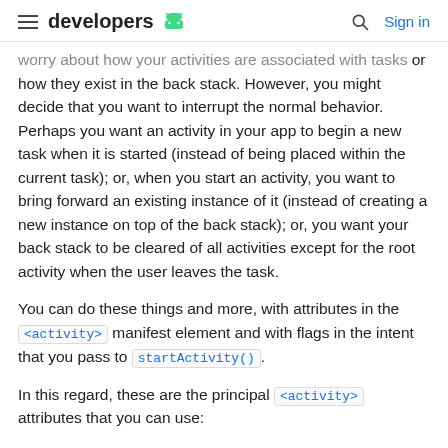developers [android logo] | Sign in
worry about how your activities are associated with tasks or how they exist in the back stack. However, you might decide that you want to interrupt the normal behavior. Perhaps you want an activity in your app to begin a new task when it is started (instead of being placed within the current task); or, when you start an activity, you want to bring forward an existing instance of it (instead of creating a new instance on top of the back stack); or, you want your back stack to be cleared of all activities except for the root activity when the user leaves the task.
You can do these things and more, with attributes in the <activity> manifest element and with flags in the intent that you pass to startActivity().
In this regard, these are the principal <activity> attributes that you can use: